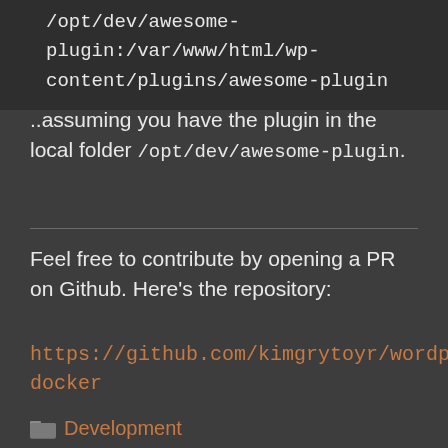/opt/dev/awesome-plugin:/var/www/html/wp-content/plugins/awesome-plugin
..assuming you have the plugin in the local folder /opt/dev/awesome-plugin.
Feel free to contribute by opening a PR on Github. Here's the repository:
https://github.com/kimgrytoyr/wordpress-docker
Development